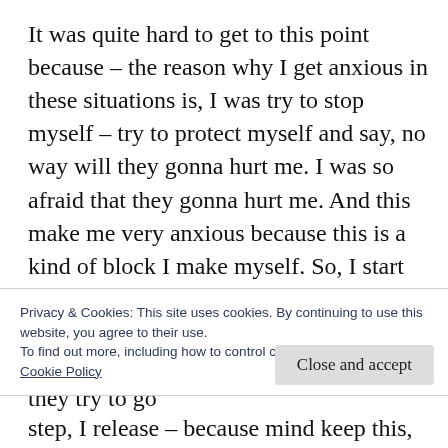It was quite hard to get to this point because – the reason why I get anxious in these situations is, I was try to stop myself – try to protect myself and say, no way will they gonna hurt me. I was so afraid that they gonna hurt me. And this make me very anxious because this is a kind of block I make myself. So, I start to go this way that, people do whatever they have in their mind. I'm not able to control. What I able to control is, if I see they try to go
Privacy & Cookies: This site uses cookies. By continuing to use this website, you agree to their use.
To find out more, including how to control cookies, see here:
Cookie Policy

Close and accept
step, I release – because mind keep this, this